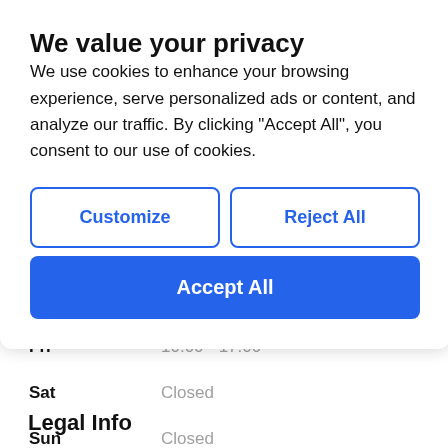We value your privacy
We use cookies to enhance your browsing experience, serve personalized ads or content, and analyze our traffic. By clicking "Accept All", you consent to our use of cookies.
Customize | Reject All
Accept All
| Day | Hours |
| --- | --- |
| Fri | 10:00 - 17:00 |
| Sat | Closed |
| Sun | Closed |
Legal Info